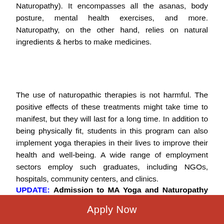Naturopathy). It encompasses all the asanas, body posture, mental health exercises, and more. Naturopathy, on the other hand, relies on natural ingredients & herbs to make medicines.
The use of naturopathic therapies is not harmful. The positive effects of these treatments might take time to manifest, but they will last for a long time. In addition to being physically fit, students in this program can also implement yoga therapies in their lives to improve their health and well-being. A wide range of employment sectors employ such graduates, including NGOs, hospitals, community centers, and clinics.
UPDATE: Admission to MA Yoga and Naturopathy in distance learning is ongoing for session 2022-23 at
Apply Now